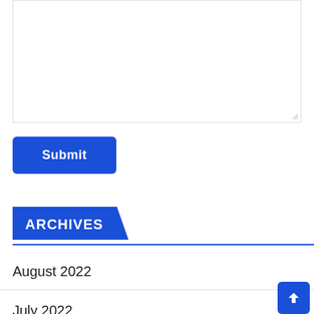[Figure (screenshot): A textarea input field with a resize handle in the bottom right corner]
Submit
ARCHIVES
August 2022
July 2022
June 2022
May 2022